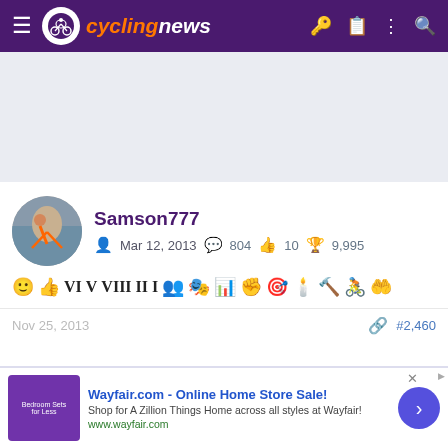cyclingnews
[Figure (other): Gray advertisement banner placeholder area]
Samson777 — Mar 12, 2013 — 804 messages — 10 likes — 9,995 trophy points — user badges row
Nov 25, 2013  #2,460
[Figure (other): Wayfair.com advertisement banner: 'Wayfair.com - Online Home Store Sale! Shop for A Zillion Things Home across all styles at Wayfair! www.wayfair.com']